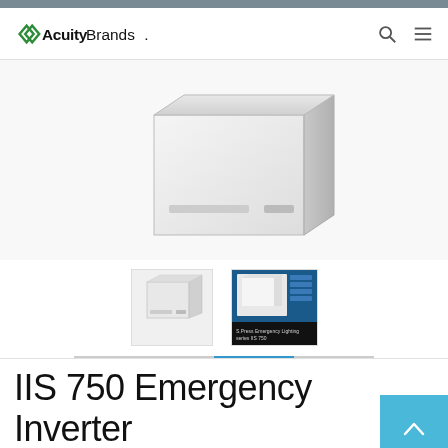[Figure (logo): Acuity Brands logo with stylized green arrow/chevron and bold sans-serif text]
[Figure (photo): Large product image of IIS 750 Emergency Inverter unit, white box-shaped device against white background]
[Figure (photo): Thumbnail photo of IIS 750 Emergency Inverter unit, white box device]
[Figure (screenshot): Thumbnail screenshot showing product in use with blue background and text 'S.Press Emergency Lighting series IIS 750']
IIS 750 Emergency Inverter
750 Watt Emergency Inverter